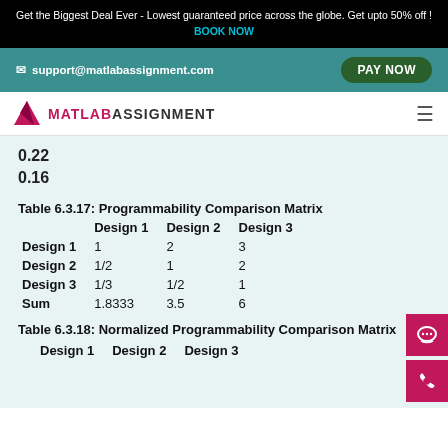Get the Biggest Deal Ever - Lowest guaranteed price across the globe. Get upto 50% off ! BOOK NOW
support@matlabassignment.com  PAY NOW
MATLABASSIGNMENT
0.22
0.16
Table 6.3.17: Programmability Comparison Matrix
|  | Design 1 | Design 2 | Design 3 |
| --- | --- | --- | --- |
| Design 1 | 1 | 2 | 3 |
| Design 2 | 1/2 | 1 | 2 |
| Design 3 | 1/3 | 1/2 | 1 |
| Sum | 1.8333 | 3.5 | 6 |
Table 6.3.18: Normalized Programmability Comparison Matrix
|  | Design 1 | Design 2 | Design 3 |
| --- | --- | --- | --- |